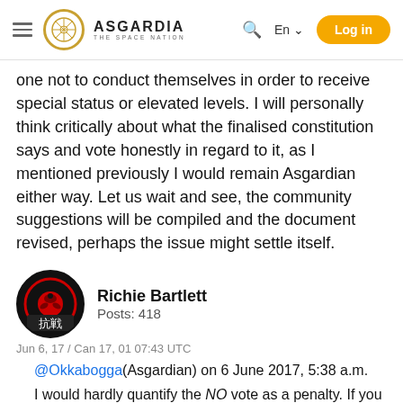ASGARDIA THE SPACE NATION | En | Log in
one not to conduct themselves in order to receive special status or elevated levels. I will personally think critically about what the finalised constitution says and vote honestly in regard to it, as I mentioned previously I would remain Asgardian either way. Let us wait and see, the community suggestions will be compiled and the document revised, perhaps the issue might settle itself.
Richie Bartlett
Posts: 418
Jun 6, 17 / Can 17, 01 07:43 UTC
@Okkabogga(Asgardian) on 6 June 2017, 5:38 a.m.
I would hardly quantify the NO vote as a penalty. If you truly have an objection with the Constitution, why would you